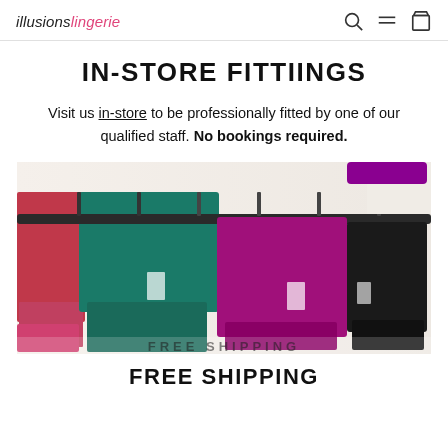illusions lingerie
IN-STORE FITTIINGS
Visit us in-store to be professionally fitted by one of our qualified staff. No bookings required.
[Figure (photo): Interior of lingerie store showing colorful bras hanging on display racks — teal/green, magenta/pink, red, and black bras on hangers along a wall rack. Partially visible text 'FREE SHIPPING' at bottom.]
FREE SHIPPING